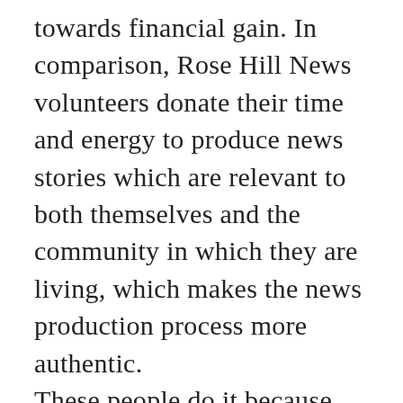towards financial gain. In comparison, Rose Hill News volunteers donate their time and energy to produce news stories which are relevant to both themselves and the community in which they are living, which makes the news production process more authentic. These people do it because they feel inclined to do so, they do it because they want to make a difference and they do it to reach out to friends and neighbours who might not be able to access the internet to update...